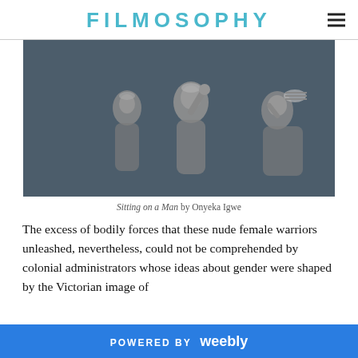FILMOSOPHY
[Figure (photo): Black and white / dark grayscale film still showing three nude female figures in dramatic poses against a dark background, from 'Sitting on a Man' by Onyeka Igwe]
Sitting on a Man by Onyeka Igwe
The excess of bodily forces that these nude female warriors unleashed, nevertheless, could not be comprehended by colonial administrators whose ideas about gender were shaped by the Victorian image of
POWERED BY weebly